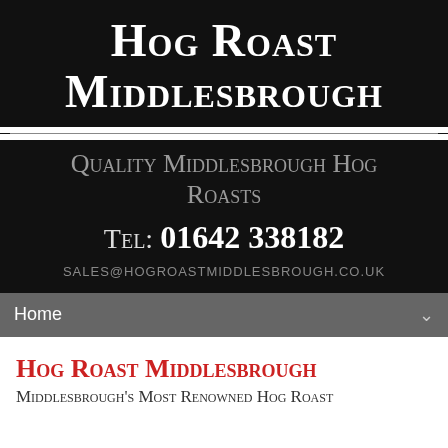Hog Roast Middlesbrough
Quality Middlesbrough Hog Roasts
Tel: 01642 338182
sales@hogroastmiddlesbrough.co.uk
Home
Hog Roast Middlesbrough
Middlesbrough's Most Renowned Hog Roast